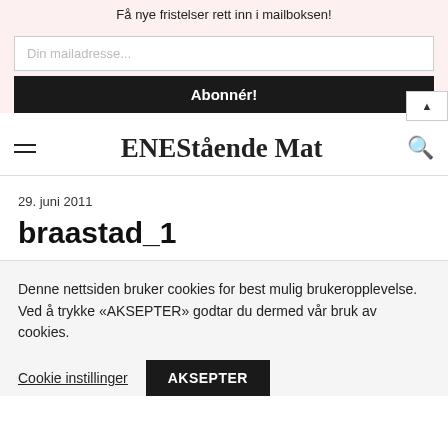Få nye fristelser rett inn i mailboksen!
Din mailadresse...
Abonnér!
ENEStående Mat
29. juni 2011
braastad_1
Denne nettsiden bruker cookies for best mulig brukeropplevelse. Ved å trykke «AKSEPTER» godtar du dermed vår bruk av cookies.
Cookie instillinger
AKSEPTER